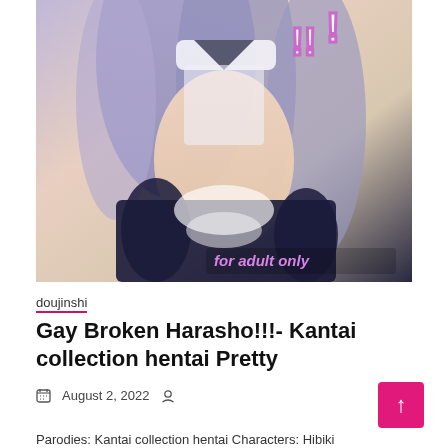[Figure (illustration): Anime/manga style illustration of a female character with long light blue/purple hair wearing a sailor school uniform, partially undressed, with text overlay 'for adult only' in pink/purple, and exclamation marks graphic in upper right corner.]
doujinshi
Gay Broken Harasho!!!- Kantai collection hentai Pretty
August 2, 2022
Parodies: Kantai collection hentai Characters: Hibiki